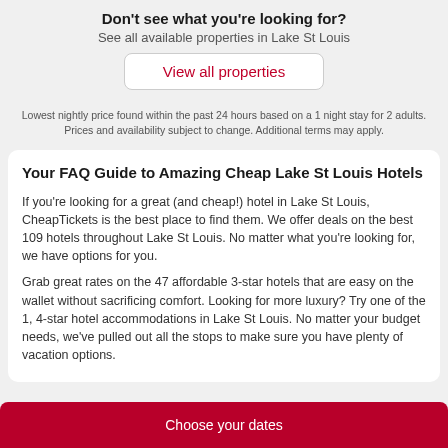Don't see what you're looking for?
See all available properties in Lake St Louis
View all properties
Lowest nightly price found within the past 24 hours based on a 1 night stay for 2 adults. Prices and availability subject to change. Additional terms may apply.
Your FAQ Guide to Amazing Cheap Lake St Louis Hotels
If you're looking for a great (and cheap!) hotel in Lake St Louis, CheapTickets is the best place to find them. We offer deals on the best 109 hotels throughout Lake St Louis. No matter what you're looking for, we have options for you.
Grab great rates on the 47 affordable 3-star hotels that are easy on the wallet without sacrificing comfort. Looking for more luxury? Try one of the 1, 4-star hotel accommodations in Lake St Louis. No matter your budget needs, we've pulled out all the stops to make sure you have plenty of vacation options.
Choose your dates